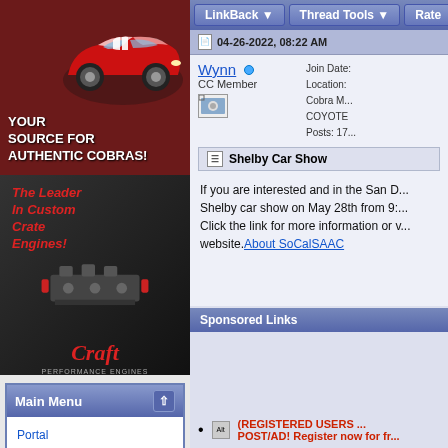[Figure (photo): Advertisement banner showing a red Cobra sports car on dark red background with text 'YOUR SOURCE FOR AUTHENTIC COBRAS!']
[Figure (photo): Advertisement for Craft Performance Engines showing 'The Leader In Custom Crate Engines!' with engine imagery and Craft logo]
Main Menu
Portal
Forums
Module Jump:
LinkBack | Thread Tools | Rate
04-26-2022, 08:22 AM
Wynn CC Member — Join Date: Location: Cobra M... COYOTE Posts: 17...
Shelby Car Show
If you are interested and in the San D... Shelby car show on May 28th from 9:... Click the link for more information or v... website. About SoCalSAAC
Sponsored Links
(REGISTERED USERS ... POST/AD! Register now for fr...